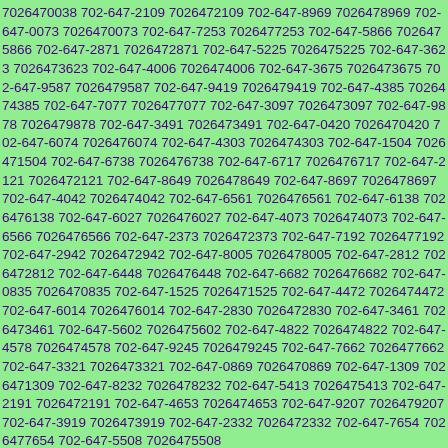7026470038 702-647-2109 7026472109 702-647-8969 7026478969 702-647-0073 7026470073 702-647-7253 7026477253 702-647-5866 7026475866 702-647-2871 7026472871 702-647-5225 7026475225 702-647-3623 7026473623 702-647-4006 7026474006 702-647-3675 7026473675 702-647-9587 7026479587 702-647-9419 7026479419 702-647-4385 7026474385 702-647-7077 7026477077 702-647-3097 7026473097 702-647-9878 7026479878 702-647-3491 7026473491 702-647-0420 7026470420 702-647-6074 7026476074 702-647-4303 7026474303 702-647-1504 7026471504 702-647-6738 7026476738 702-647-6717 7026476717 702-647-2121 7026472121 702-647-8649 7026478649 702-647-8697 7026478697 702-647-4042 7026474042 702-647-6561 7026476561 702-647-6138 7026476138 702-647-6027 7026476027 702-647-4073 7026474073 702-647-6566 7026476566 702-647-2373 7026472373 702-647-7192 7026477192 702-647-2942 7026472942 702-647-8005 7026478005 702-647-2812 7026472812 702-647-6448 7026476448 702-647-6682 7026476682 702-647-0835 7026470835 702-647-1525 7026471525 702-647-4472 7026474472 702-647-6014 7026476014 702-647-2830 7026472830 702-647-3461 7026473461 702-647-5602 7026475602 702-647-4822 7026474822 702-647-4578 7026474578 702-647-9245 7026479245 702-647-7662 7026477662 702-647-3321 7026473321 702-647-0869 7026470869 702-647-1309 7026471309 702-647-8232 7026478232 702-647-5413 7026475413 702-647-2191 7026472191 702-647-4653 7026474653 702-647-9207 7026479207 702-647-3919 7026473919 702-647-2332 7026472332 702-647-7654 7026477654 702-647-5508 7026475508